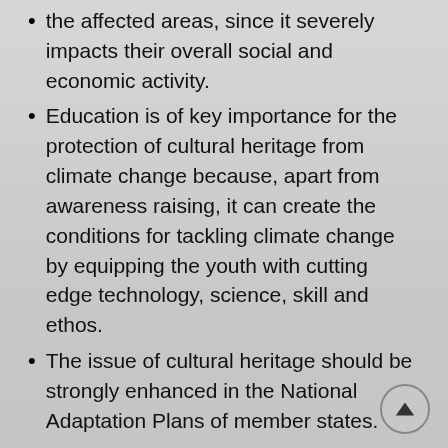the affected areas, since it severely impacts their overall social and economic activity.
Education is of key importance for the protection of cultural heritage from climate change because, apart from awareness raising, it can create the conditions for tackling climate change by equipping the youth with cutting edge technology, science, skill and ethos.
The issue of cultural heritage should be strongly enhanced in the National Adaptation Plans of member states.
The State Representative of Greece on Climate Change, launched the idea of creating a flexible follow-up mechanism with the participation of representatives from UN Member States, UNESCO, WMO and UNFCCC. This mechanism will be supported by a